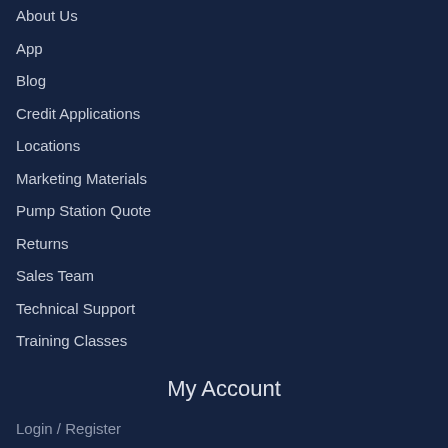About Us
App
Blog
Credit Applications
Locations
Marketing Materials
Pump Station Quote
Returns
Sales Team
Technical Support
Training Classes
My Account
Login / Register
Forgot Password
View Cart